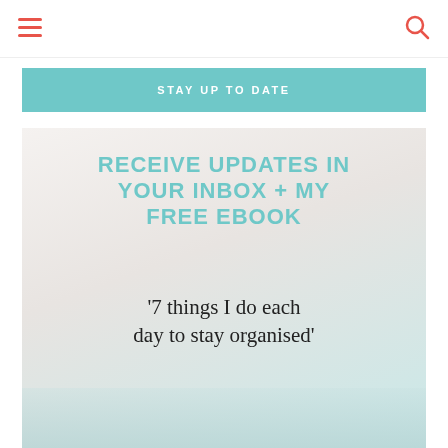STAY UP TO DATE
[Figure (illustration): Promotional blog signup image showing teal bold text 'RECEIVE UPDATES IN YOUR INBOX + MY FREE EBOOK' and cursive script '7 things I do each day to stay organised' over a light marble/pastel background with stationery items at the bottom.]